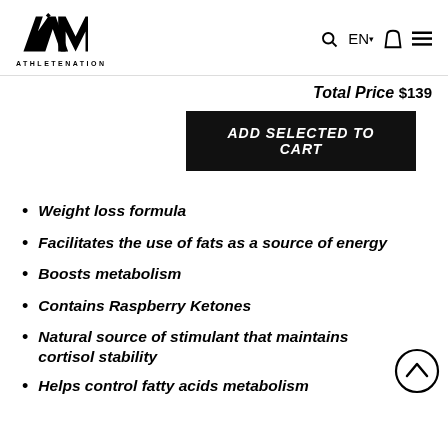ATHLETENATION | Search | EN | Cart | Menu
Total Price $139
ADD SELECTED TO CART
Weight loss formula
Facilitates the use of fats as a source of energy
Boosts metabolism
Contains Raspberry Ketones
Natural source of stimulant that maintains cortisol stability
Helps control fatty acids metabolism